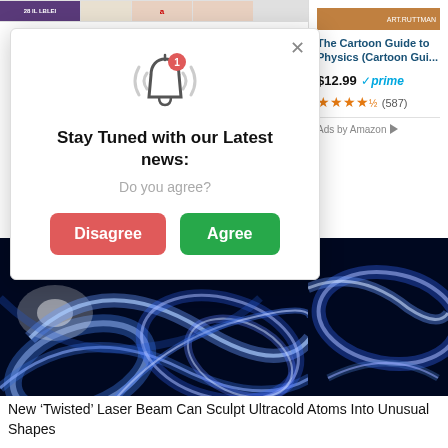[Figure (screenshot): Top thumbnail strip showing book covers and product images in a browser tab bar area]
[Figure (screenshot): Amazon ad panel showing 'The Cartoon Guide to Physics (Cartoon Gui...' book listing with price $12.99, Prime checkmark, and star rating (587 reviews), with 'Ads by Amazon' label]
[Figure (infographic): Browser notification modal popup with bell icon showing badge '1', heading 'Stay Tuned with our Latest news:', subtext 'Do you agree?', and two buttons: red 'Disagree' and green 'Agree'. Modal has X close button in top right.]
[Figure (photo): Blue glowing twisted laser beam light trails on black background, representing ultracold atom sculpting physics research]
New ‘Twisted’ Laser Beam Can Sculpt Ultracold Atoms Into Unusual Shapes